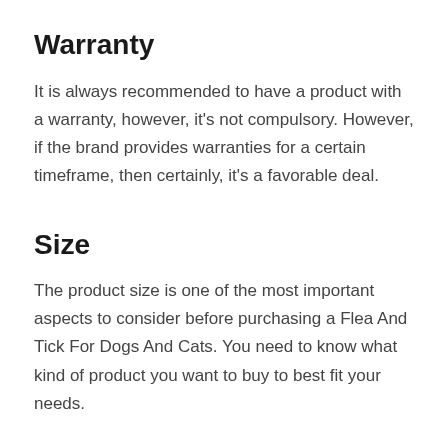Warranty
It is always recommended to have a product with a warranty, however, it's not compulsory. However, if the brand provides warranties for a certain timeframe, then certainly, it's a favorable deal.
Size
The product size is one of the most important aspects to consider before purchasing a Flea And Tick For Dogs And Cats. You need to know what kind of product you want to buy to best fit your needs.
It is essential to buy a product that addresses your